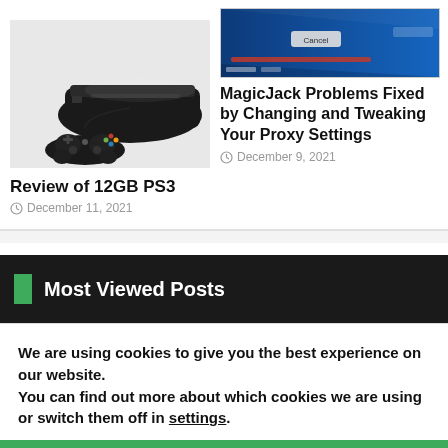[Figure (photo): PS3 console with controller, black, top-down angled view]
[Figure (screenshot): MagicJack proxy settings screen with blue background]
MagicJack Problems Fixed by Changing and Tweaking Your Proxy Settings
December 9, 2021
Review of 12GB PS3
December 11, 2021
Most Viewed Posts
We are using cookies to give you the best experience on our website.
You can find out more about which cookies we are using or switch them off in settings.
Accept